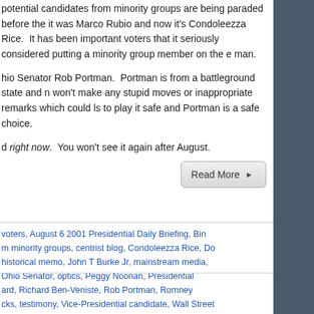potential candidates from minority groups are being paraded before the it was Marco Rubio and now it's Condoleezza Rice. It has been important voters that it seriously considered putting a minority group member on the e man.
hio Senator Rob Portman. Portman is from a battleground state and n won't make any stupid moves or inappropriate remarks which could ls to play it safe and Portman is a safe choice.
d right now. You won't see it again after August.
Read More
voters, August 6 2001 Presidential Daily Briefing, Bin m minority groups, centrist blog, Condoleezza Rice, Do historical memo, John T Burke Jr, mainstream media, Ohio Senator, optics, Peggy Noonan, Presidential ard, Richard Ben-Veniste, Rob Portman, Romney cks, testimony, Vice-Presidential candidate, Wall Street